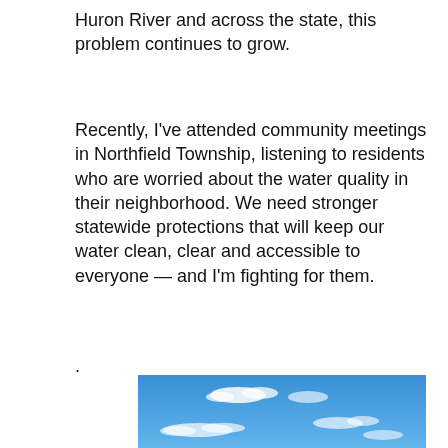Huron River and across the state, this problem continues to grow.
Recently, I've attended community meetings in Northfield Township, listening to residents who are worried about the water quality in their neighborhood. We need stronger statewide protections that will keep our water clean, clear and accessible to everyone — and I'm fighting for them.
.
[Figure (photo): Outdoor photograph of a river or lake with blue sky, scattered white clouds, and a treeline along the far bank.]